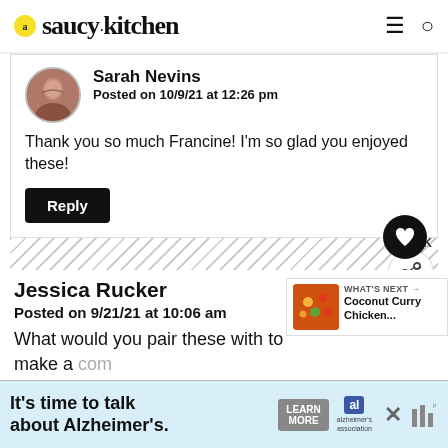saucy kitchen
Sarah Nevins
Posted on 10/9/21 at 12:26 pm
Thank you so much Francine! I'm so glad you enjoyed these!
Reply
98.6K
Jessica Rucker
Posted on 9/21/21 at 10:06 am
What would you pair these with to make a complete dinner?
WHAT'S NEXT → Coconut Curry Chicken...
It's time to talk about Alzheimer's. LEARN MORE